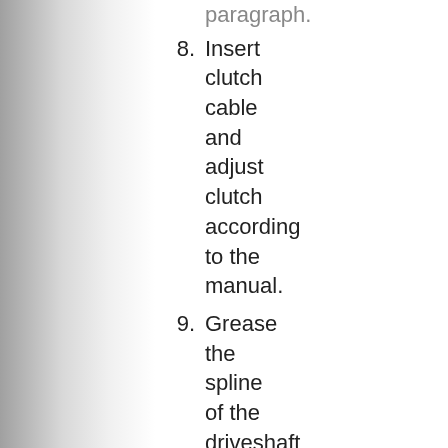paragraph.
8. Insert clutch cable and adjust clutch according to the manual.
9. Grease the spline of the driveshaft with some high-pressure grease (Staburags or MP3; this is a special high-